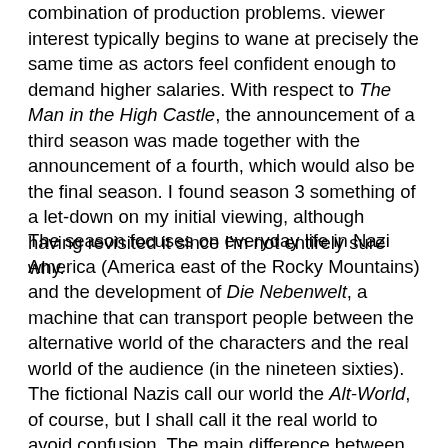combination of production problems. viewer interest typically begins to wane at precisely the same time as actors feel confident enough to demand higher salaries. With respect to The Man in the High Castle, the announcement of a third season was made together with the announcement of a fourth, which would also be the final season. I found season 3 something of a let-down on my initial viewing, although having revisited it since I'm not entirely sure why.
The season focuses on everyday life in Nazi America (America east of the Rocky Mountains) and the development of Die Nebenwelt, a machine that can transport people between the alternative world of the characters and the real world of the audience (in the nineteen sixties). The fictional Nazis call our world the Alt-World, of course, but I shall call it the real world to avoid confusion. The main difference between the alternative world and ours is that the Axis won the Second World War in the former, dividing the world into two super-states, the Greater Nazi Reich and the Japanese Empire. The shared emphasis between Nazi America and the Japanese Pacific States (America west of the Rocky Mountains) of the first two seasons shifted subtly towards